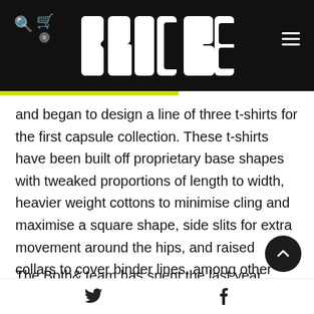BRICKS
and began to design a line of three t-shirts for the first capsule collection. These t-shirts have been built off proprietary base shapes with tweaked proportions of length to width, heavier weight cottons to minimise cling and maximise a square shape, side slits for extra movement around the hips, and raised collars to cover binder lines, among other features.
The Both& team has spent the last year perfecting these
Twitter  Facebook